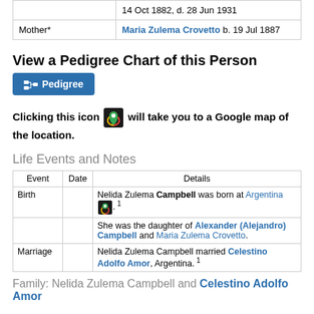|  |  |
| --- | --- |
|  | 14 Oct 1882, d. 28 Jun 1931 |
| Mother* | Maria Zulema Crovetto b. 19 Jul 1887 |
View a Pedigree Chart of this Person
[Figure (other): Blue Pedigree button with pedigree tree icon]
Clicking this icon [Google Maps icon] will take you to a Google map of the location.
Life Events and Notes
| Event | Date | Details |
| --- | --- | --- |
| Birth |  | Nelida Zulema Campbell was born at Argentina [map icon]. 1 |
|  |  | She was the daughter of Alexander (Alejandro) Campbell and Maria Zulema Crovetto. |
| Marriage |  | Nelida Zulema Campbell married Celestino Adolfo Amor, Argentina. 1 |
Family: Nelida Zulema Campbell and Celestino Adolfo Amor